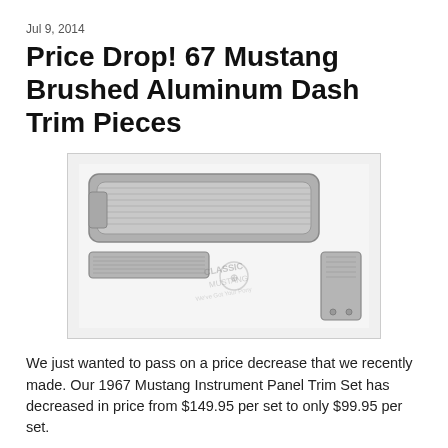Jul 9, 2014
Price Drop! 67 Mustang Brushed Aluminum Dash Trim Pieces
[Figure (photo): Product photo showing 1967 Mustang Instrument Panel Trim Set — brushed aluminum dash trim pieces including a large upper panel, a center strip, and a lower RH panel, displayed on a white background with a Classic Mustang watermark logo.]
We just wanted to pass on a price decrease that we recently made.  Our 1967 Mustang Instrument Panel Trim Set has decreased in price from $149.95 per set to only $99.95 per set.
The set still includes the same chrome plastic trim dash panels (Upper RH, Center, and Lower RH) with real brushed